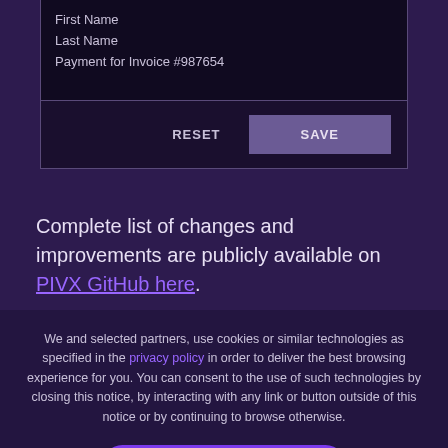First Name
Last Name
Payment for Invoice #987654
[Figure (screenshot): RESET and SAVE buttons row at the bottom of a form card]
Complete list of changes and improvements are publicly available on PIVX GitHub here.
We and selected partners, use cookies or similar technologies as specified in the privacy policy in order to deliver the best browsing experience for you. You can consent to the use of such technologies by closing this notice, by interacting with any link or button outside of this notice or by continuing to browse otherwise.
ACCEPT COOKIES